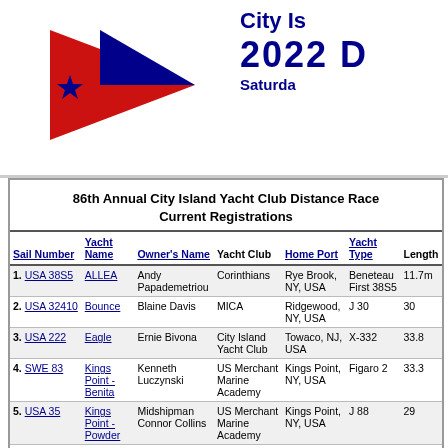[Figure (logo): City Island Yacht Club pennant logo — red and blue triangular sailing pennant with blue star]
City Is... 2022 D... Saturday...
86th Annual City Island Yacht Club Distance Race Current Registrations
| Sail Number | Yacht Name | Owner's Name | Yacht Club | Home Port | Yacht Type | Length |
| --- | --- | --- | --- | --- | --- | --- |
| 1. USA 38S5 | ALLEA | Andy Papademetriou | Corinthians | Rye Brook, NY, USA | Beneteau First 38S5 | 11.7m |
| 2. USA 32410 | Bounce | Blaine Davis | MICA | Ridgewood, NY, USA | J 30 | 30 |
| 3. USA 222 | Eagle | Ernie Bivona | City Island Yacht Club | Towaco, NJ, USA | X-332 | 33.8 |
| 4. SWE 83 | Kings Point - Benita | Kenneth Luczynski | US Merchant Marine Academy | Kings Point, NY, USA | Figaro 2 | 33.3 |
| 5. USA 35 | Kings Point - Powder | Midshipman Connor Collins | US Merchant Marine Academy | Kings Point, NY, USA | J 88 | 29 |
| 6. 318 | Maestrale | Rad Kurek | PSCNY | Middle Village, NY, USA | Tartan 10 | 33 |
| 7. USA K 19 | Miss Galsjm | Roy Halvorsen | Harlem | Edgewater, NJ, USA | F & C Ketch | 44 |